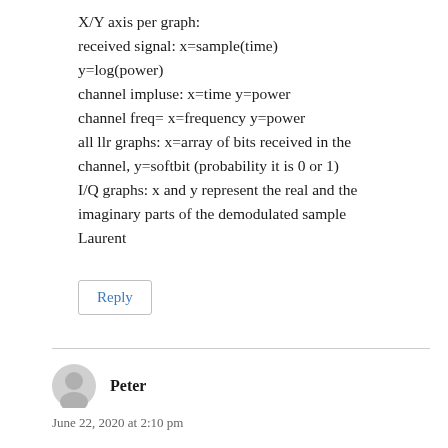X/Y axis per graph:
received signal: x=sample(time)
y=log(power)
channel impluse: x=time y=power
channel freq= x=frequency y=power
all llr graphs: x=array of bits received in the channel, y=softbit (probability it is 0 or 1)
I/Q graphs: x and y represent the real and the imaginary parts of the demodulated sample
Laurent
Reply
Peter
June 22, 2020 at 2:10 pm